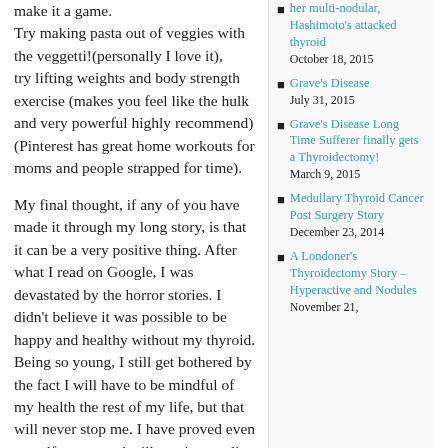make it a game.
Try making pasta out of veggies with the veggetti!(personally I love it),
try lifting weights and body strength exercise (makes you feel like the hulk and very powerful highly recommend) (Pinterest has great home workouts for moms and people strapped for time).
My final thought, if any of you have made it through my long story, is that it can be a very positive thing. After what I read on Google, I was devastated by the horror stories. I didn't believe it was possible to be happy and healthy without my thyroid. Being so young, I still get bothered by the fact I will have to be mindful of my health the rest of my life, but that will never stop me. I have proved even myself wrong and will continue to live life to the fullest. Salad and Doritos. Workouts and naps. Surgery was
Hashimoto's attacked thyroid
October 18, 2015
Grave's Disease
July 31, 2015
Grave's Disease Long Time Sufferer finally gets a Thyroidectomy!
March 9, 2015
Medullary Thyroid Cancer Post Surgery Story
December 23, 2014
A Londoner's Thyroidectomy Story – Hyperactive and Nodules
November 21,